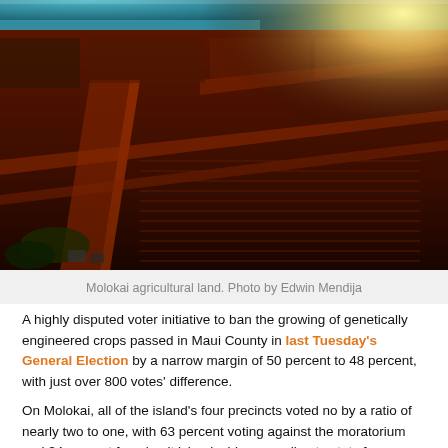[Figure (photo): Aerial photograph of Molokai agricultural land showing large red-soil farm fields divided into rectangular sections by dirt roads, with ocean visible in the background and bright sunlight in the upper right corner.]
Molokai agricultural land. Photo by Edwin Mendija
A highly disputed voter initiative to ban the growing of genetically engineered crops passed in Maui County in last Tuesday's General Election by a narrow margin of 50 percent to 48 percent, with just over 800 votes' difference.
On Molokai, all of the island's four precincts voted no by a ratio of nearly two to one, with 63 percent voting against the moratorium and 34 percent favoring it island-wide, according to stats from Hawaii's elections website.
The initiative calls for a moratorium until a detailed environmental